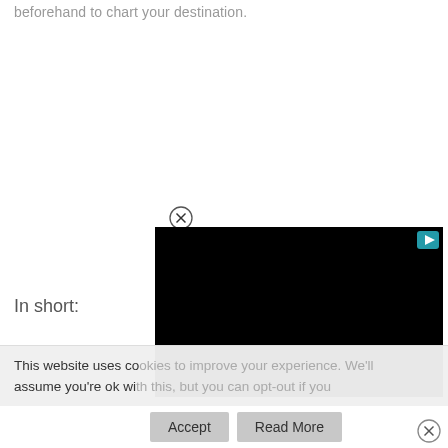beforehand to chart your destination.
[Figure (other): Close button circle with X icon above a video player]
In short:
This website uses co... assume you're ok wi...
Accept
Read More